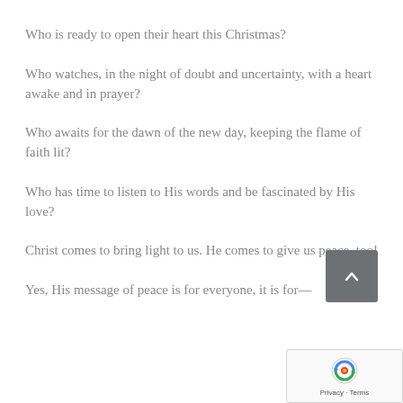Who is ready to open their heart this Christmas?
Who watches, in the night of doubt and uncertainty, with a heart awake and in prayer?
Who awaits for the dawn of the new day, keeping the flame of faith lit?
Who has time to listen to His words and be fascinated by His love?
Christ comes to bring light to us. He comes to give us peace, too!
Yes, His message of peace is for everyone, it is for—